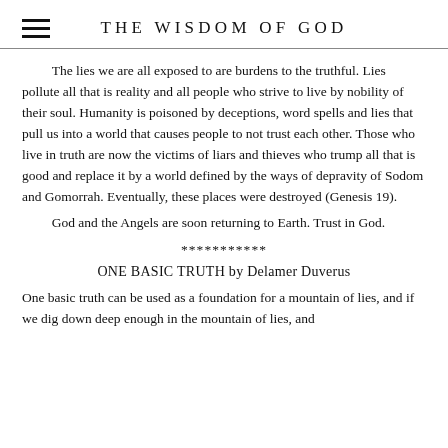THE WISDOM OF GOD
The lies we are all exposed to are burdens to the truthful. Lies pollute all that is reality and all people who strive to live by nobility of their soul. Humanity is poisoned by deceptions, word spells and lies that pull us into a world that causes people to not trust each other. Those who live in truth are now the victims of liars and thieves who trump all that is good and replace it by a world defined by the ways of depravity of Sodom and Gomorrah. Eventually, these places were destroyed (Genesis 19).
	God and the Angels are soon returning to Earth. Trust in God.
***********
ONE BASIC TRUTH by Delamer Duverus
One basic truth can be used as a foundation for a mountain of lies, and if we dig down deep enough in the mountain of lies, and